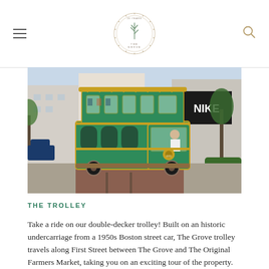The Grove — 20 Years logo, navigation menu and search icon
[Figure (photo): A green and gold double-decker trolley on a brick-paved street in front of a Nike store, surrounded by palm trees and buildings in an outdoor shopping center]
THE TROLLEY
Take a ride on our double-decker trolley! Built on an historic undercarriage from a 1950s Boston street car, The Grove trolley travels along First Street between The Grove and The Original Farmers Market, taking you on an exciting tour of the property. Powered electrically, The Grove trolley is the first use of